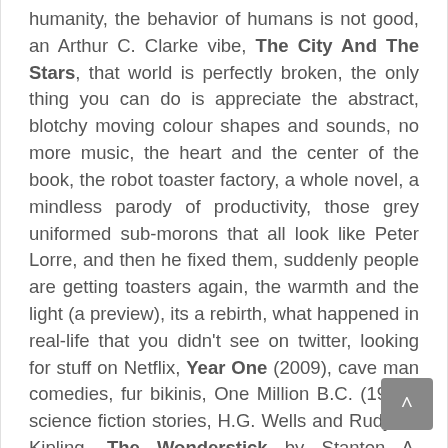humanity, the behavior of humans is not good, an Arthur C. Clarke vibe, The City And The Stars, that world is perfectly broken, the only thing you can do is appreciate the abstract, blotchy moving colour shapes and sounds, no more music, the heart and the center of the book, the robot toaster factory, a whole novel, a mindless parody of productivity, those grey uniformed sub-morons that all look like Peter Lorre, and then he fixed them, suddenly people are getting toasters again, the warmth and the light (a preview), its a rebirth, what happened in real-life that you didn't see on twitter, looking for stuff on Netflix, Year One (2009), cave man comedies, fur bikinis, One Million B.C. (1940), science fiction stories, H.G. Wells and Rudyard Kipling, The Wonderstick by Stanton A. Coblentz, the wonder of the wheel the wonder of the stick, a retelling of the bible, Harold Ramis plays Adam, David Cross is Kane as Paul Rudd is Abel, that tree of knowledge, only the mockingbird sings at the edge of the woods, that's really